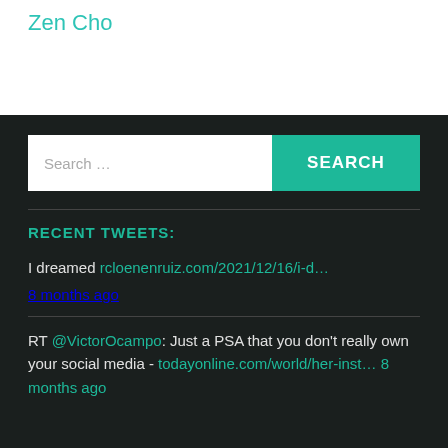Zen Cho
[Figure (screenshot): Search bar with white input field labeled 'Search ...' and a teal 'SEARCH' button]
RECENT TWEETS:
I dreamed rcloenenruiz.com/2021/12/16/i-d...
8 months ago
RT @VictorOcampo: Just a PSA that you don't really own your social media - todayonline.com/world/her-inst... 8 months ago